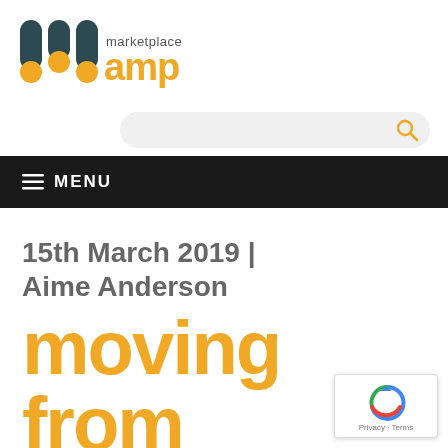[Figure (logo): Marketplace AMP logo with three pill-shaped icons in dark teal and yellow, and text 'marketplace amp']
[Figure (screenshot): Search bar with rounded rectangle shape, light gray background, and yellow magnifying glass icon on right]
≡  MENU
15th March 2019 | Aime Anderson
moving
from
[Figure (logo): Google reCAPTCHA badge with circular arrow icon and Privacy - Terms links]